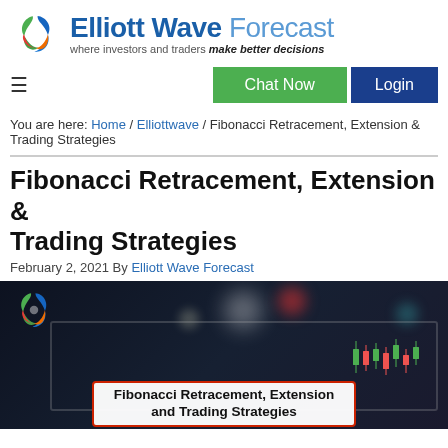[Figure (logo): Elliott Wave Forecast logo with circular swirl icon and tagline 'where investors and traders make better decisions']
≡  Chat Now  Login
You are here: Home / Elliottwave / Fibonacci Retracement, Extension & Trading Strategies
Fibonacci Retracement, Extension & Trading Strategies
February 2, 2021 By Elliott Wave Forecast
[Figure (photo): Hero image showing a tablet displaying a trading chart with candlesticks, on a dark bokeh background, with an overlay text box reading 'Fibonacci Retracement, Extension and Trading Strategies']